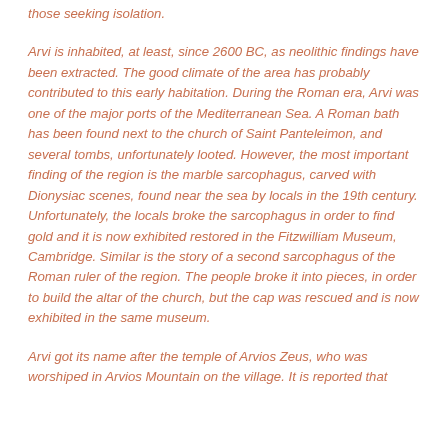those seeking isolation.
Arvi is inhabited, at least, since 2600 BC, as neolithic findings have been extracted. The good climate of the area has probably contributed to this early habitation. During the Roman era, Arvi was one of the major ports of the Mediterranean Sea. A Roman bath has been found next to the church of Saint Panteleimon, and several tombs, unfortunately looted. However, the most important finding of the region is the marble sarcophagus, carved with Dionysiac scenes, found near the sea by locals in the 19th century. Unfortunately, the locals broke the sarcophagus in order to find gold and it is now exhibited restored in the Fitzwilliam Museum, Cambridge. Similar is the story of a second sarcophagus of the Roman ruler of the region. The people broke it into pieces, in order to build the altar of the church, but the cap was rescued and is now exhibited in the same museum.
Arvi got its name after the temple of Arvios Zeus, who was worshiped in Arvios Mountain on the village. It is reported that